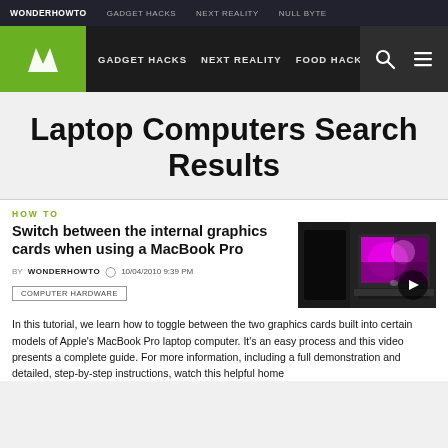WONDERHOWTO  GADGET HACKS  NEXT REALITY  NULL BYTE
[Figure (logo): WonderHowTo logo — green box with white W icon, navigation bar with GADGET HACKS, NEXT REALITY, FOOD HACKS, NUL, search and menu icons]
Laptop Computers Search Results
HOW TO
Switch between the internal graphics cards when using a MacBook Pro
[Figure (photo): Thumbnail image of a MacBook Pro with colorful display, with a video play button overlay]
BY WONDERHOWTO  10/04/2010 9:39 PM
COMPUTER HARDWARE
In this tutorial, we learn how to toggle between the two graphics cards built into certain models of Apple's MacBook Pro laptop computer. It's an easy process and this video presents a complete guide. For more information, including a full demonstration and detailed, step-by-step instructions, watch this helpful home